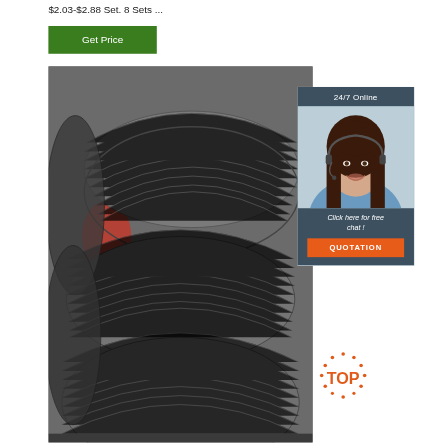$2.03-$2.88 Set. 8 Sets ...
Get Price
[Figure (photo): Large coils of dark grey steel wire rods stacked in a warehouse, multiple rows visible]
[Figure (photo): 24/7 Online chat widget with a female customer service agent wearing a headset, smiling. Text: '24/7 Online', 'Click here for free chat!', 'QUOTATION' button in orange. Dark blue-grey background.]
[Figure (logo): TOP badge/logo with orange dots arranged in a starburst/gear pattern around the word TOP in orange capital letters]